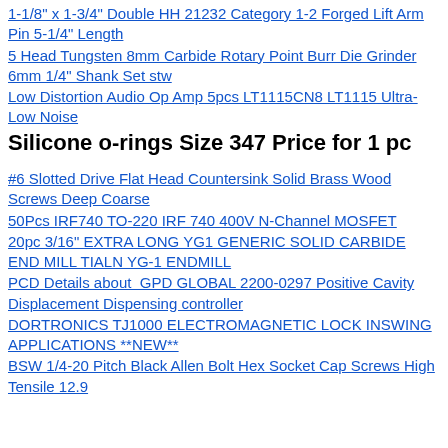1-1/8" x 1-3/4" Double HH 21232 Category 1-2 Forged Lift Arm Pin 5-1/4" Length
5 Head Tungsten 8mm Carbide Rotary Point Burr Die Grinder 6mm 1/4" Shank Set stw
Low Distortion Audio Op Amp 5pcs LT1115CN8 LT1115 Ultra-Low Noise
Silicone o-rings Size 347 Price for 1 pc
#6 Slotted Drive Flat Head Countersink Solid Brass Wood Screws Deep Coarse
50Pcs IRF740 TO-220 IRF 740 400V N-Channel MOSFET
20pc 3/16" EXTRA LONG YG1 GENERIC SOLID CARBIDE END MILL TIALN YG-1 ENDMILL
PCD Details about GPD GLOBAL 2200-0297 Positive Cavity Displacement Dispensing controller
DORTRONICS TJ1000 ELECTROMAGNETIC LOCK INSWING APPLICATIONS **NEW**
BSW 1/4-20 Pitch Black Allen Bolt Hex Socket Cap Screws High Tensile 12.9